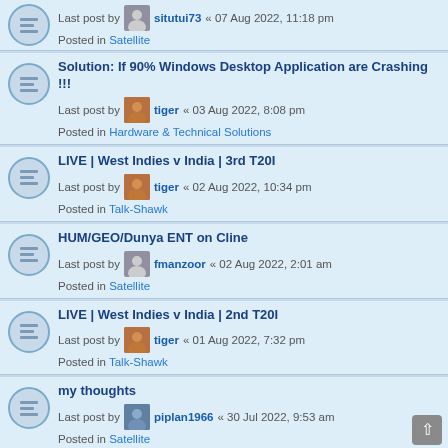Last post by situtui73 « 07 Aug 2022, 11:18 pm
Posted in Satellite
Solution: If 90% Windows Desktop Application are Crashing !!!
Last post by tiger « 03 Aug 2022, 8:08 pm
Posted in Hardware & Technical Solutions
LIVE | West Indies v India | 3rd T20I
Last post by tiger « 02 Aug 2022, 10:34 pm
Posted in Talk-Shawk
HUM/GEO/Dunya ENT on Cline
Last post by fmanzoor « 02 Aug 2022, 2:01 am
Posted in Satellite
LIVE | West Indies v India | 2nd T20I
Last post by tiger « 01 Aug 2022, 7:32 pm
Posted in Talk-Shawk
my thoughts
Last post by piplan1966 « 30 Jul 2022, 9:53 am
Posted in Satellite
LIVE | West Indies v India | 1st T20I
Last post by tiger « 29 Jul 2022, 8:59 pm